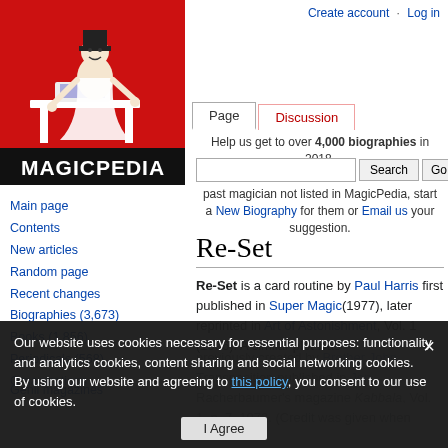Create account  Log in
[Figure (logo): MagicPedia logo: red background with illustrated magician at desk, black bar with MAGICPEDIA text in white]
Page  Discussion
Help us get to over 4,000 biographies in 2018.
past magician not listed in MagicPedia, start a New Biography for them or Email us your suggestion.
Re-Set
Re-Set is a card routine by Paul Harris first published in Super Magic(1977), later reprinted in Art of Astonishment, Vol. 1 (1996). A similar plot was previously created by Brother John Hamman... Transposition published in Jon Racherbaumer's magazine Kabbala, Vol. 1, n. 7, 1972. (Credit was given when
Main page
Contents
New articles
Random page
Recent changes
Biographies (3,673)
Books (1,856)
Periodicals (568)
Organizations
Genii magazines
Our website uses cookies necessary for essential purposes: functionality and analytics cookies, content sharing and social networking cookies.
By using our website and agreeing to this policy, you consent to our use of cookies.